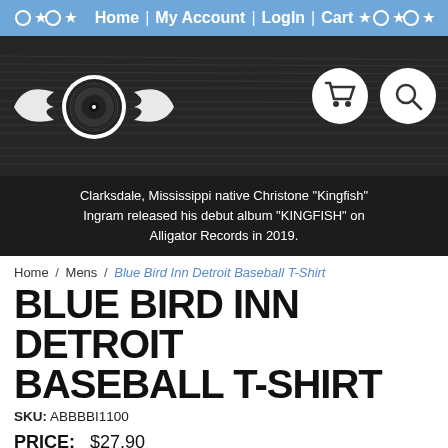Home | My Account | Login | Cart
[Figure (illustration): Music store website header banner with winged record logo on dark textured background with music sheet pattern; cart and search icons on right]
Clarksdale, Mississippi native Christone "Kingfish" Ingram released his debut album "KINGFISH" on Alligator Records in 2019.
Home / Mens / Blue Bird Inn Detroit Baseball T-Shirt
BLUE BIRD INN DETROIT BASEBALL T-SHIRT
SKU: ABBBBI1100
PRICE:   $27.90
Select A Color: